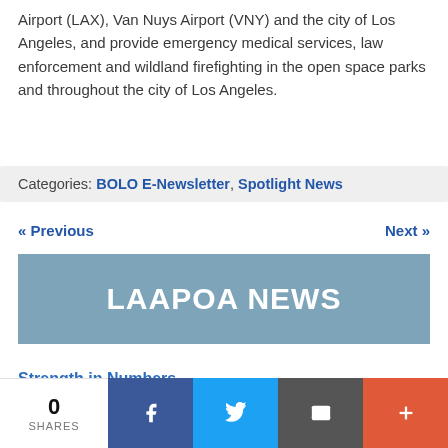Airport (LAX), Van Nuys Airport (VNY) and the city of Los Angeles, and provide emergency medical services, law enforcement and wildland firefighting in the open space parks and throughout the city of Los Angeles.
Categories: BOLO E-Newsletter, Spotlight News
« Previous    Next »
LAAPOA NEWS
Strength in Numbers
As Labor Day approaches, it's important to keep in mind that this holiday isn't… READ MORE »